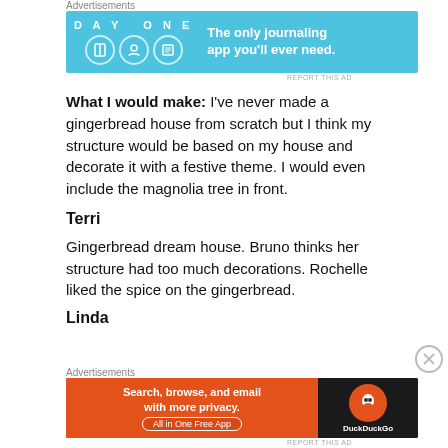Advertisements
[Figure (screenshot): DayOne journaling app advertisement banner - blue background with 'DAY ONE' brand, icons, and tagline 'The only journaling app you'll ever need.']
What I would make: I've never made a gingerbread house from scratch but I think my structure would be based on my house and decorate it with a festive theme. I would even include the magnolia tree in front.
Terri
Gingerbread dream house. Bruno thinks her structure had too much decorations. Rochelle liked the spice on the gingerbread.
Linda
Advertisements
[Figure (screenshot): DuckDuckGo advertisement banner - orange and dark background with text 'Search, browse, and email with more privacy. All in One Free App' and DuckDuckGo logo]